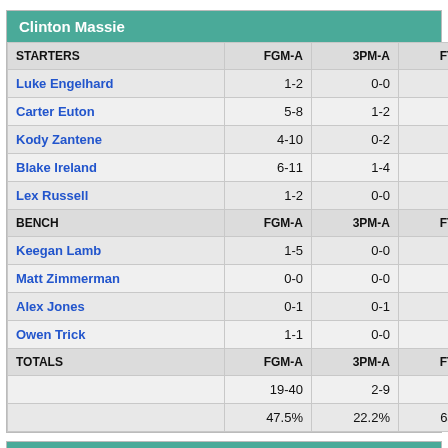Clinton Massie
| STARTERS | FGM-A | 3PM-A | FTM-A | OR |
| --- | --- | --- | --- | --- |
| Luke Engelhard | 1-2 | 0-0 | 0-0 |  |
| Carter Euton | 5-8 | 1-2 | 2-2 |  |
| Kody Zantene | 4-10 | 0-2 | 3-5 |  |
| Blake Ireland | 6-11 | 1-4 | 1-2 |  |
| Lex Russell | 1-2 | 0-0 | 1-2 |  |
| BENCH | FGM-A | 3PM-A | FTM-A | OR |
| Keegan Lamb | 1-5 | 0-0 | 0-0 |  |
| Matt Zimmerman | 0-0 | 0-0 | 0-0 |  |
| Alex Jones | 0-1 | 0-1 | 0-0 |  |
| Owen Trick | 1-1 | 0-0 | 0-0 |  |
| TOTALS | FGM-A | 3PM-A | FTM-A | OREB |
|  | 19-40 | 2-9 | 7-11 | 6 |
|  | 47.5% | 22.2% | 63.6% |  |
Bethel-Tate